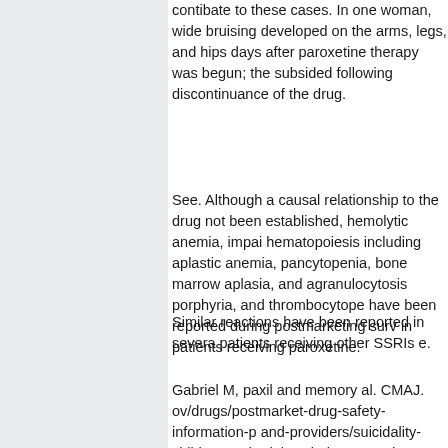contibate to these cases. In one woman, wide bruising developed on the arms, legs, and hips days after paroxetine therapy was begun; the subsided following discontinuance of the drug.
See. Although a causal relationship to the drug not been established, hemolytic anemia, impai hematopoiesis including aplastic anemia, pancytopenia, bone marrow aplasia, and agranulocytosis porphyria, and thrombocytope have been reported during postmarketing surv in patients receiving paroxetine.
Similar reactions have been reported in severa patients receiving other SSRIs e.
Gabriel M, paxil and memory al. CMAJ. ov/drugs/postmarket-drug-safety-information-p and-providers/suicidality-children-and-adolesc being treated antidepressant medications.